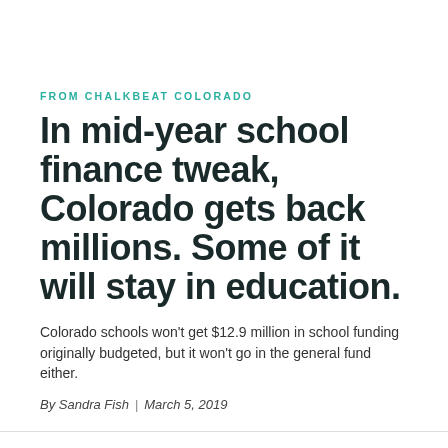FROM CHALKBEAT COLORADO
In mid-year school finance tweak, Colorado gets back millions. Some of it will stay in education.
Colorado schools won't get $12.9 million in school funding originally budgeted, but it won't go in the general fund either.
By Sandra Fish | March 5, 2019